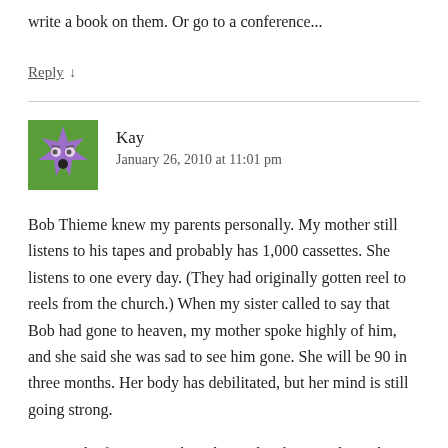write a book on them. Or go to a conference...
Reply ↓
[Figure (illustration): Purple monster/alien avatar icon with star shape and face, on green background]
Kay
January 26, 2010 at 11:01 pm
Bob Thieme knew my parents personally. My mother still listens to his tapes and probably has 1,000 cassettes. She listens to one every day. (They had originally gotten reel to reels from the church.) When my sister called to say that Bob had gone to heaven, my mother spoke highly of him, and she said she was sad to see him gone. She will be 90 in three months. Her body has debilitated, but her mind is still going strong.
He was the first pastor that I learned Hebrew and Greek